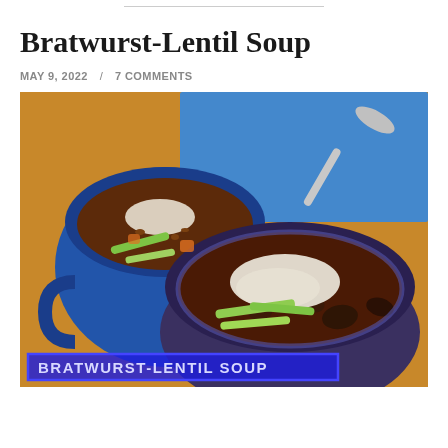Bratwurst-Lentil Soup
MAY 9, 2022  /  7 COMMENTS
[Figure (photo): Overhead photo of two blue ceramic bowls/mugs of bratwurst-lentil soup topped with shredded cheese and sliced green onions, on a wooden surface with a blue gingham checkered napkin and a silver spoon. A text overlay at the bottom reads BRATWURST-LENTIL SOUP in bold letters on a blue background.]